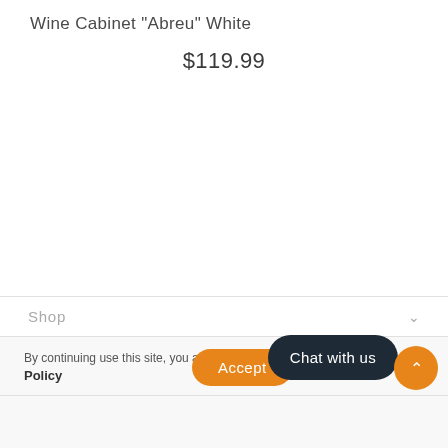Wine Cabinet "Abreu" White
$119.99
Shop
By continuing use this site, you ag... Policy
Accept
Chat with us